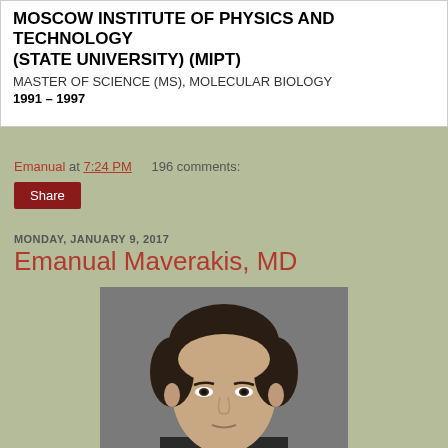MOSCOW INSTITUTE OF PHYSICS AND TECHNOLOGY (STATE UNIVERSITY) (MIPT)
MASTER OF SCIENCE (MS), MOLECULAR BIOLOGY
1991 – 1997
Emanual at 7:24 PM    196 comments:
Share
MONDAY, JANUARY 9, 2017
Emanual Maverakis, MD
[Figure (photo): Professional headshot photo of Emanual Maverakis, MD — a man with dark hair against a gray background]